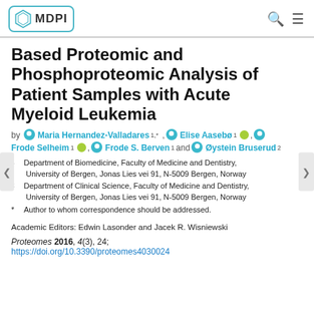MDPI
Based Proteomic and Phosphoproteomic Analysis of Patient Samples with Acute Myeloid Leukemia
by Maria Hernandez-Valladares 1,* , Elise Aasebø 1, Frode Selheim 1, Frode S. Berven 1 and Øystein Bruserud 2
1 Department of Biomedicine, Faculty of Medicine and Dentistry, University of Bergen, Jonas Lies vei 91, N-5009 Bergen, Norway
2 Department of Clinical Science, Faculty of Medicine and Dentistry, University of Bergen, Jonas Lies vei 91, N-5009 Bergen, Norway
* Author to whom correspondence should be addressed.
Academic Editors: Edwin Lasonder and Jacek R. Wisniewski
Proteomes 2016, 4(3), 24; https://doi.org/10.3390/proteomes4030024